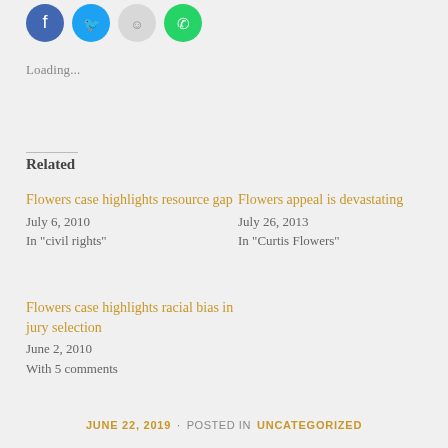[Figure (other): Social media sharing icon buttons: Facebook (blue circle), Twitter (blue circle), Reddit (grey circle), WhatsApp (green circle)]
Loading...
Related
Flowers case highlights resource gap
July 6, 2010
In "civil rights"
Flowers appeal is devastating
July 26, 2013
In "Curtis Flowers"
Flowers case highlights racial bias in jury selection
June 2, 2010
With 5 comments
JUNE 22, 2019 · POSTED IN UNCATEGORIZED